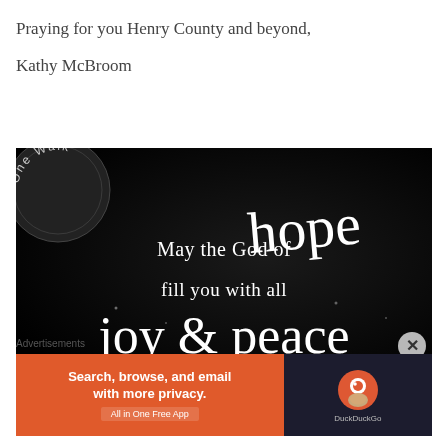Praying for you Henry County and beyond,
Kathy McBroom
[Figure (photo): Dark/black background image with cursive and serif white text reading: 'May the God of hope fill you with all joy & peace'. A circular badge in the top-left reads 'One Walk'.]
Advertisements
[Figure (other): DuckDuckGo advertisement banner: orange left panel saying 'Search, browse, and email with more privacy. All in One Free App', dark right panel with DuckDuckGo logo.]